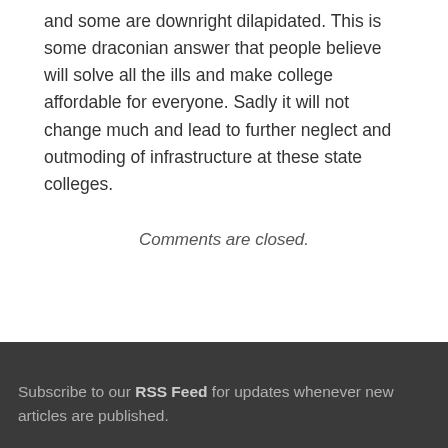and some are downright dilapidated. This is some draconian answer that people believe will solve all the ills and make college affordable for everyone. Sadly it will not change much and lead to further neglect and outmoding of infrastructure at these state colleges.
Comments are closed.
Subscribe to our RSS Feed for updates whenever new articles are published.